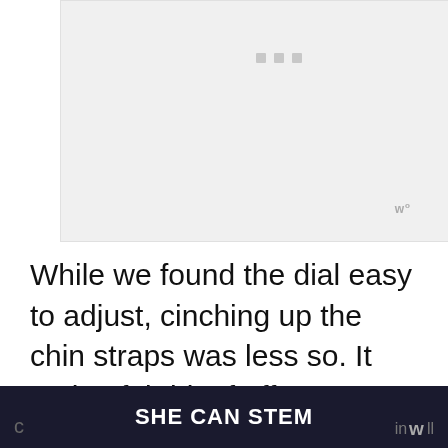[Figure (photo): A light gray image placeholder area with three small gray squares near the top center, and a watermark logo in the lower right corner.]
While we found the dial easy to adjust, cinching up the chin straps was less so. It took a fair bit of effort to shorten the chin strap and to re-tighten every few uses. I much prefer a strap like the one
SHE CAN STEM